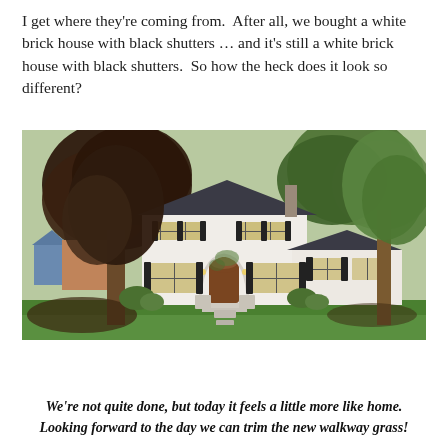I get where they're coming from.  After all, we bought a white brick house with black shutters … and it's still a white brick house with black shutters.  So how the heck does it look so different?
[Figure (photo): Exterior photo of a white brick two-story house with black shutters, surrounded by large trees with green and dark-red foliage, a lush lawn, stone walkway leading to the front door, and warm interior lighting glowing through the windows. Taken at dusk/evening.]
We're not quite done, but today it feels a little more like home. Looking forward to the day we can trim the new walkway grass!